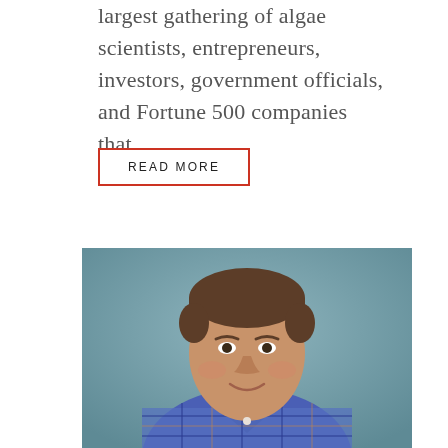largest gathering of algae scientists, entrepreneurs, investors, government officials, and Fortune 500 companies that…
READ MORE
[Figure (photo): Professional headshot of a middle-aged man with short brown hair, smiling, wearing a blue and white plaid shirt, against a muted blue-grey background.]